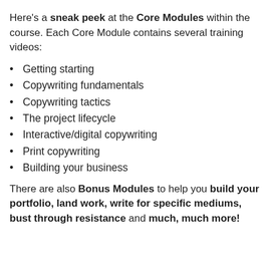Here's a sneak peek at the Core Modules within the course. Each Core Module contains several training videos:
Getting starting
Copywriting fundamentals
Copywriting tactics
The project lifecycle
Interactive/digital copywriting
Print copywriting
Building your business
There are also Bonus Modules to help you build your portfolio, land work, write for specific mediums, bust through resistance and much, much more!